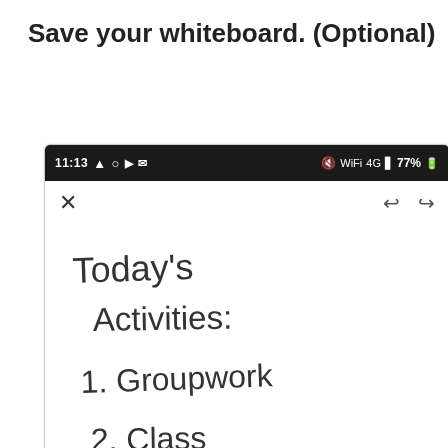Save your whiteboard. (Optional)
[Figure (screenshot): A smartphone screenshot showing a whiteboard app with handwritten text: 'Today's Activities:' followed by '1. Group work' and '2. Class Discussion'. The status bar shows 11:13 time and 77% battery.]